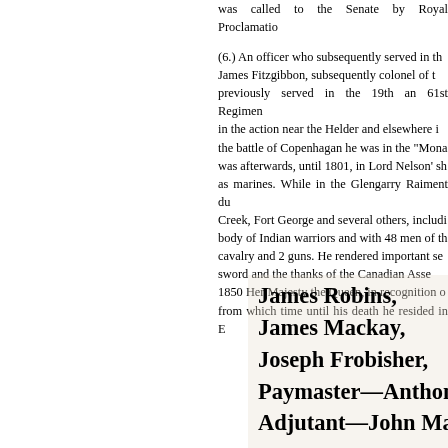was called to the Senate by Royal Proclamatio...
(6.) An officer who subsequently served in th... James Fitzgibbon, subsequently colonel of t... previously served in the 19th an 61st Regimen... in the action near the Helder and elsewhere i... the battle of Copenhagan he was in the "Mona... was afterwards, until 1801, in Lord Nelson' sh... as marines. While in the Glengarry Raiment du... Creek, Fort George and several others, includi... body of Indian warriors and with 48 men of th... cavalry and 2 guns. He rendered important se... sword and the thanks of the Canadian Asse... 1850 Her Majesty the Queen, in recognition o... from which time until his death he resided in E...
James Robins,
James Mackay,
Joseph Frobisher,
Paymaster—Anthony Lo...
Adjutant—John Mackay...
Quarter-Master—John V...
Agents—Greenwood, Co...